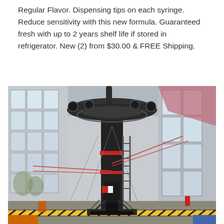Regular Flavor. Dispensing tips on each syringe. Reduce sensitivity with this new formula. Guaranteed fresh with up to 2 years shelf life if stored in refrigerator. New (2) from $30.00 & FREE Shipping.
[Figure (photo): A large industrial drone or multi-rotor aerial vehicle mounted on a stand inside a large warehouse or hangar facility. The machine is black with a red ring accent, has multiple arms extending outward with rotors, and is surrounded by cables and support structures. The building has large windows letting in natural light, and the floor has yellow and black safety markings.]